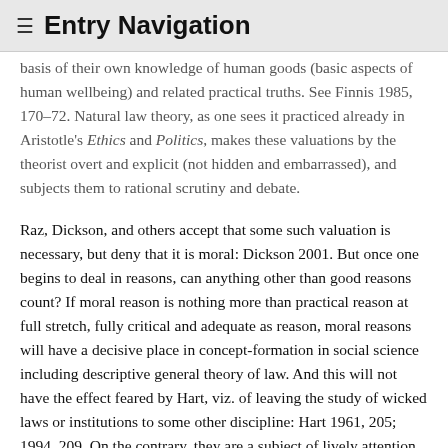≡ Entry Navigation
basis of their own knowledge of human goods (basic aspects of human wellbeing) and related practical truths. See Finnis 1985, 170–72. Natural law theory, as one sees it practiced already in Aristotle's Ethics and Politics, makes these valuations by the theorist overt and explicit (not hidden and embarrassed), and subjects them to rational scrutiny and debate.
Raz, Dickson, and others accept that some such valuation is necessary, but deny that it is moral: Dickson 2001. But once one begins to deal in reasons, can anything other than good reasons count? If moral reason is nothing more than practical reason at full stretch, fully critical and adequate as reason, moral reasons will have a decisive place in concept-formation in social science including descriptive general theory of law. And this will not have the effect feared by Hart, viz. of leaving the study of wicked laws or institutions to some other discipline: Hart 1961, 205; 1994, 209. On the contrary, they are a subject of lively attention in such a theory, precisely because of their opposition to legal systems of a (substantively and